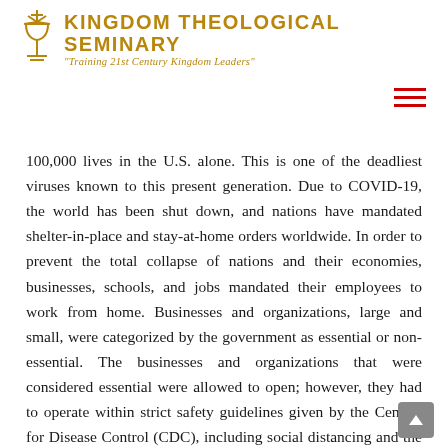KINGDOM THEOLOGICAL SEMINARY
"Training 21st Century Kingdom Leaders"
100,000 lives in the U.S. alone. This is one of the deadliest viruses known to this present generation. Due to COVID-19, the world has been shut down, and nations have mandated shelter-in-place and stay-at-home orders worldwide. In order to prevent the total collapse of nations and their economies, businesses, schools, and jobs mandated their employees to work from home. Businesses and organizations, large and small, were categorized by the government as essential or non-essential. The businesses and organizations that were considered essential were allowed to open; however, they had to operate within strict safety guidelines given by the Centers for Disease Control (CDC), including social distancing and the use of hand sanitizer. But those that were non-essential had to close down their